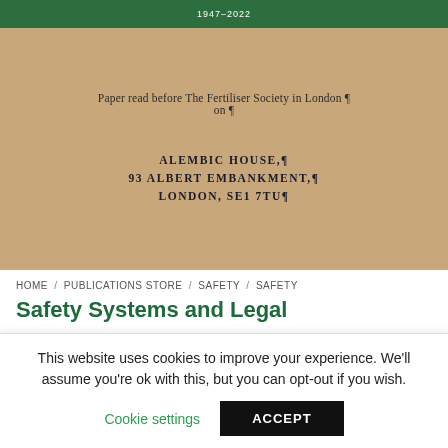1947–2022
[Figure (photo): Scanned cover of a publication on beige/tan textured paper showing printed text: 'Paper read before The Fertiliser Society in London on ¶' and an address block: 'ALEMBIC HOUSE,¶ 93 ALBERT EMBANKMENT,¶ LONDON, SE1 7TU¶']
HOME / PUBLICATIONS STORE / SAFETY / SAFETY
Safety Systems and Legal
This website uses cookies to improve your experience. We'll assume you're ok with this, but you can opt-out if you wish.
Cookie settings   ACCEPT